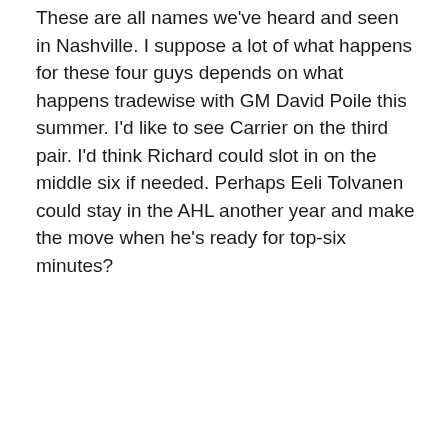These are all names we've heard and seen in Nashville. I suppose a lot of what happens for these four guys depends on what happens tradewise with GM David Poile this summer. I'd like to see Carrier on the third pair. I'd think Richard could slot in on the middle six if needed. Perhaps Eeli Tolvanen could stay in the AHL another year and make the move when he's ready for top-six minutes?